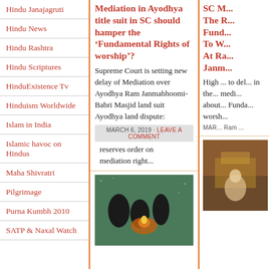Hindu Janajagruti
Hindu News
Hindu Rashtra
Hindu Scriptures
HinduExistence Tv
Hinduism Worldwide
Islam in India
Islamic havoc on Hindus
Maha Shivratri
Pilgrimage
Purna Kumbh 2010
SATP & Naxal Watch
Mediation in Ayodhya title suit in SC should hamper the ‘Fundamental Rights of worship’?
Supreme Court is setting new delay of Mediation over Ayodhya Ram Janmabhoomi-Babri Masjid land suit Ayodhya land dispute:
MARCH 6, 2019 · LEAVE A COMMENT
reserves order on mediation right...
[Figure (photo): People performing a ritual or puja around a fire lamp]
SC M... The R... Fund... To W... At Ra... Janm...
High ... to del... in the... medi... about... Funda... worsh... MAR... Ram ...
[Figure (photo): Partial image of a person, possibly at a temple or religious site]